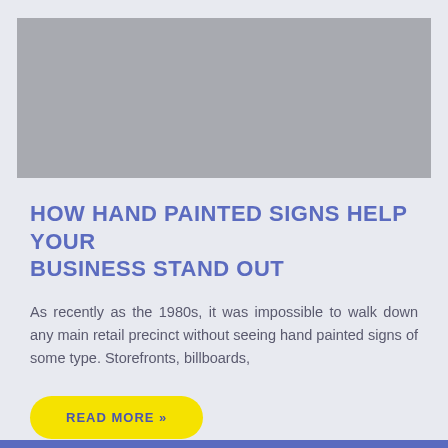[Figure (photo): Gray placeholder image at top of article card]
HOW HAND PAINTED SIGNS HELP YOUR BUSINESS STAND OUT
As recently as the 1980s, it was impossible to walk down any main retail precinct without seeing hand painted signs of some type. Storefronts, billboards,
READ MORE »